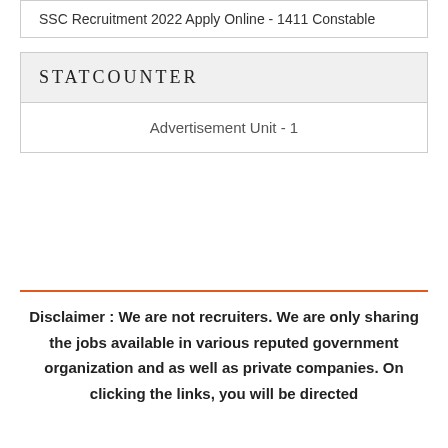SSC Recruitment 2022 Apply Online - 1411 Constable
STATCOUNTER
Advertisement Unit - 1
Disclaimer : We are not recruiters. We are only sharing the jobs available in various reputed government organization and as well as private companies. On clicking the links, you will be directed